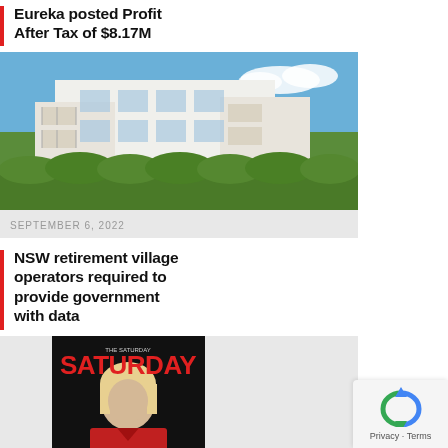Eureka posted Profit After Tax of $8.17M
[Figure (photo): Exterior photo of a modern residential building with balconies, white facades, and green hedge in the foreground under blue sky]
SEPTEMBER 6, 2022
NSW retirement village operators required to provide government with data
[Figure (photo): Cover of SATURDAY magazine featuring a blonde woman in red with text 'Disrupting the aged care narrative']
SEPTEMBER 6, 2022
The latest SATURDAY is out now – with a whole